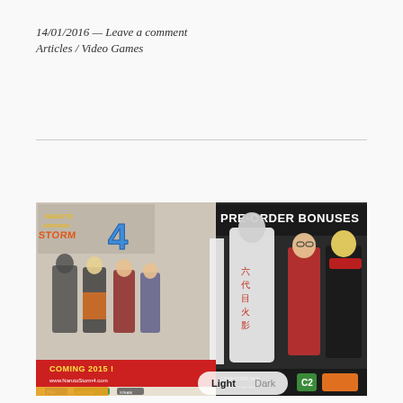14/01/2016 — Leave a comment
Articles / Video Games
[Figure (photo): Naruto Shippuden Ultimate Ninja Storm 4 pre-order bonuses promotional image showing characters and 'Coming 2015!' text with platform logos for PS4, Xbox One, and Steam]